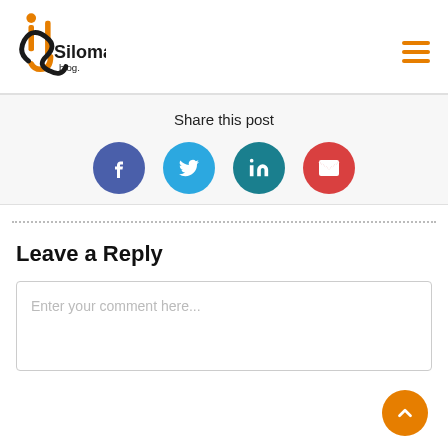[Figure (logo): Siloma blog logo with orange and black decorative lettering]
Share this post
[Figure (infographic): Four social share buttons: Facebook (blue), Twitter (cyan), LinkedIn (teal), Email (red), all circular]
Leave a Reply
Enter your comment here...